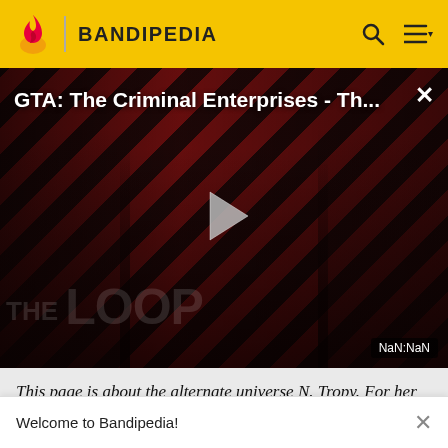BANDIPEDIA
[Figure (screenshot): Video thumbnail showing GTA: The Criminal Enterprises - Th... with a play button overlay, diagonal red/black striped background, silhouettes of multiple characters, THE LOOP logo text, and NaN:NaN timestamp. Close button (×) in top right.]
This page is about the alternate universe N. Tropy. For her main universe counterpart, see N. Tropy.
Welcome to Bandipedia!